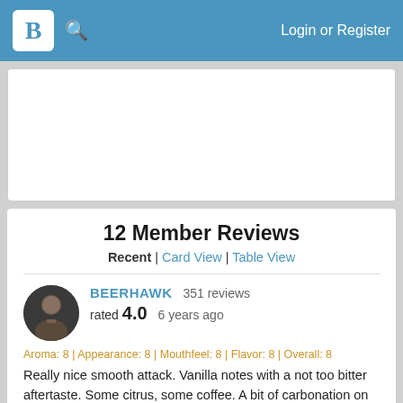B [logo] [search icon] Login or Register
[Figure (other): White advertisement area placeholder]
12 Member Reviews
Recent | Card View | Table View
BEERHAWK 351 reviews rated 4.0 6 years ago
Aroma: 8 | Appearance: 8 | Mouthfeel: 8 | Flavor: 8 | Overall: 8
Really nice smooth attack. Vanilla notes with a not too bitter aftertaste. Some citrus, some coffee. A bit of carbonation on the nose. A really nice smooth Stout.